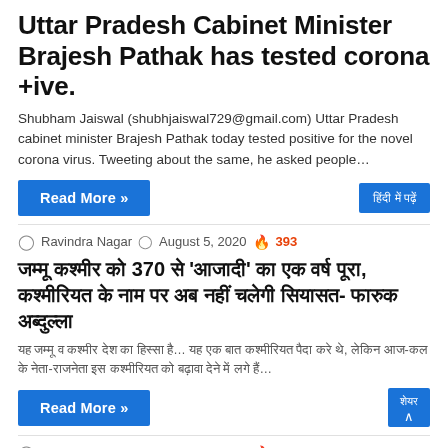Uttar Pradesh Cabinet Minister Brajesh Pathak has tested corona +ive.
Shubham Jaiswal (shubhjaiswal729@gmail.com) Uttar Pradesh cabinet minister Brajesh Pathak today tested positive for the novel corona virus. Tweeting about the same, he asked people…
Read More »
Ravindra Nagar  August 5, 2020  393
जम्मू कश्मीर को 370 से 'आजादी' का एक वर्ष पूरा, कश्मीरियत के नाम पर अब नहीं चलेगी सियासत- फारुक अब्दुल्ला
[Hindi excerpt text]
Read More »
Ravindra Nagar  August 5, 2020  350
राशिफल 05 August 2020: जानिए आपना